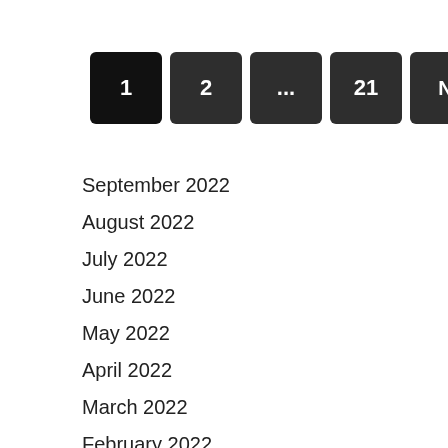[Figure (other): Pagination control with buttons: 1 (active/black), 2, ..., 21, Next]
September 2022
August 2022
July 2022
June 2022
May 2022
April 2022
March 2022
February 2022
January 2022